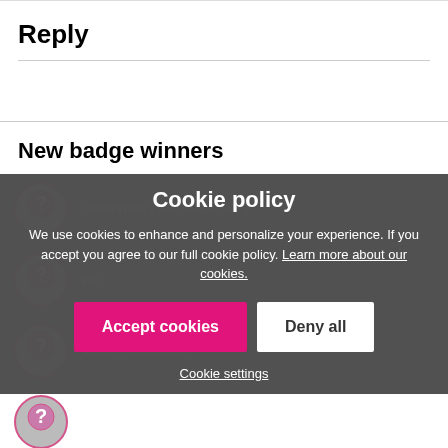Reply
New badge winners
CHENYI258 [obscured text]
[obscured text]
MiChi... [obscured text]
AmyElizabeth [obscured] earned the badge Cookie Clicker
Cookie policy
We use cookies to enhance and personalize your experience. If you accept you agree to our full cookie policy. Learn more about our cookies.
Accept cookies
Deny all
Cookie settings